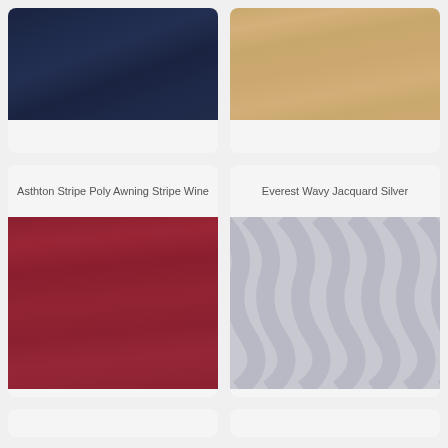[Figure (photo): Fabric swatch - dark navy blue striped textile, cropped at top]
[Figure (photo): Fabric swatch - tan/natural linen textured fabric, cropped at top]
Asthton Stripe Poly Awning Stripe Wine
[Figure (photo): Fabric swatch - deep wine/burgundy red striped fabric]
Everest Wavy Jacquard Silver
[Figure (photo): Fabric swatch - silver/grey wavy jacquard pattern fabric]
[Figure (photo): Partial card at bottom left, cropped]
[Figure (photo): Partial card at bottom right, cropped]